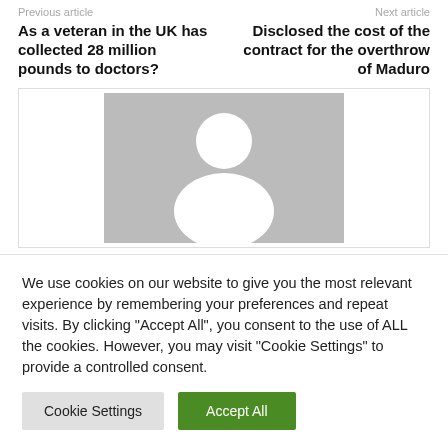Previous article   Next article
As a veteran in the UK has collected 28 million pounds to doctors?
Disclosed the cost of the contract for the overthrow of Maduro
[Figure (photo): Generic avatar/profile placeholder image — grey square with a white silhouette of a person (head and shoulders)]
We use cookies on our website to give you the most relevant experience by remembering your preferences and repeat visits. By clicking "Accept All", you consent to the use of ALL the cookies. However, you may visit "Cookie Settings" to provide a controlled consent.